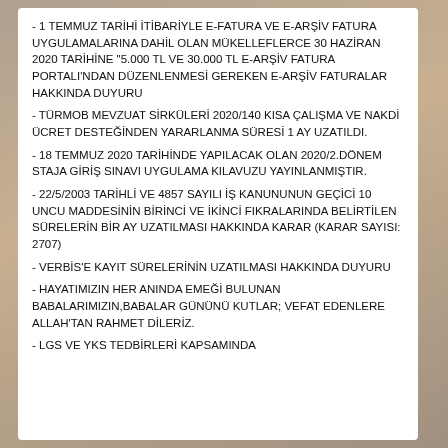- 1 TEMMUZ TARİHİ İTİBARİYLE E-FATURA VE E-ARŞİV FATURA UYGULAMALARINA DAHİL OLAN MÜKELLEFLERCE 30 HAZİRAN 2020 TARİHİNE "5.000 TL VE 30.000 TL E-ARŞİV FATURA PORTALI'NDAN DÜZENLENMESİ GEREKEN E-ARŞİV FATURALAR HAKKINDA DUYURU
- TÜRMOB MEVZUAT SİRKÜLERİ 2020/140 KISA ÇALIŞMA VE NAKDİ ÜCRET DESTEĞİNDEN YARARLANMA SÜRESİ 1 AY UZATILDI.
- 18 TEMMUZ 2020 TARİHİNDE YAPILACAK OLAN 2020/2.DÖNEM STAJA GİRİŞ SINAVI UYGULAMA KILAVUZU YAYINLANMIŞTIR.
- 22/5/2003 TARİHLİ VE 4857 SAYILI İŞ KANUNUNUN GEÇİCİ 10 UNCU MADDESİNİN BİRİNCİ VE İKİNCİ FIKRALARINDA BELİRTİLEN SÜRELERİN BİR AY UZATILMASI HAKKINDA KARAR (KARAR SAYISI: 2707)
- VERBİS'E KAYIT SÜRELERİNİN UZATILMASI HAKKINDA DUYURU
- HAYATIMIZIN HER ANINDA EMEĞİ BULUNAN BABALARIMIZIN,BABALAR GÜNÜNÜ KUTLAR; VEFAT EDENLERE ALLAH'TAN RAHMET DİLERİZ.
- LGS VE YKS TEDBİRLERİ KAPSAMINDA